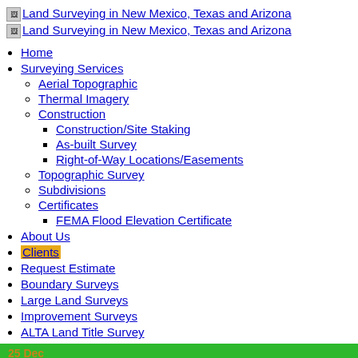[Figure (logo): Two logo images with text: Land Surveying in New Mexico, Texas and Arizona]
Home
Surveying Services
Aerial Topographic
Thermal Imagery
Construction
Construction/Site Staking
As-built Survey
Right-of-Way Locations/Easements
Topographic Survey
Subdivisions
Certificates
FEMA Flood Elevation Certificate
About Us
Clients
Request Estimate
Boundary Surveys
Large Land Surveys
Improvement Surveys
ALTA Land Title Survey
25 Dec
positive leadership in the workplace